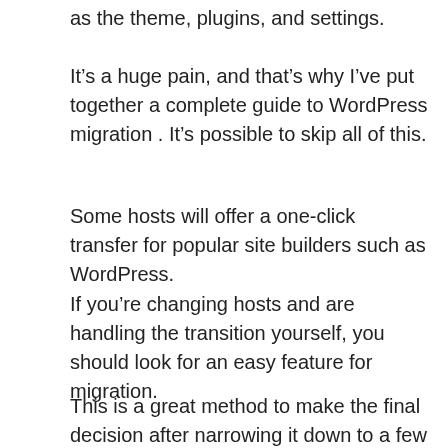as the theme, plugins, and settings.
It’s a huge pain, and that’s why I’ve put together a complete guide to WordPress migration . It’s possible to skip all of this.
Some hosts will offer a one-click transfer for popular site builders such as WordPress.
If you’re changing hosts and are handling the transition yourself, you should look for an easy feature for migration.
This is a great method to make the final decision after narrowing it down to a few possible options.